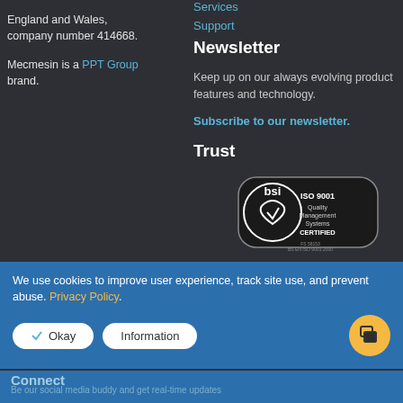England and Wales, company number 414668.
Mecmesin is a PPT Group brand.
Services
Support
Newsletter
Keep up on our always evolving product features and technology.
Subscribe to our newsletter.
Trust
[Figure (logo): BSI ISO 9001 Quality Management Systems Certified logo badge]
We use cookies to improve user experience, track site use, and prevent abuse. Privacy Policy.
Okay
Information
Connect
Be our social media buddy and get real-time updates on Force and Torque news.